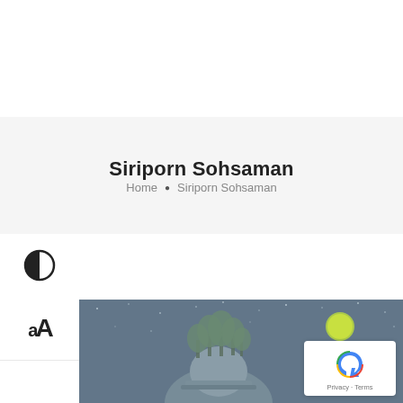Siriporn Sohsaman
Home • Siriporn Sohsaman
[Figure (illustration): Contrast toggle button (half-filled circle icon) on left sidebar]
[Figure (illustration): Text size toggle button (tT icon) on left sidebar]
[Figure (photo): Surreal artwork showing a person's head with trees growing out of it against a night sky with a glowing moon and stars]
[Figure (logo): reCAPTCHA badge with Google reCAPTCHA icon and Privacy - Terms text]